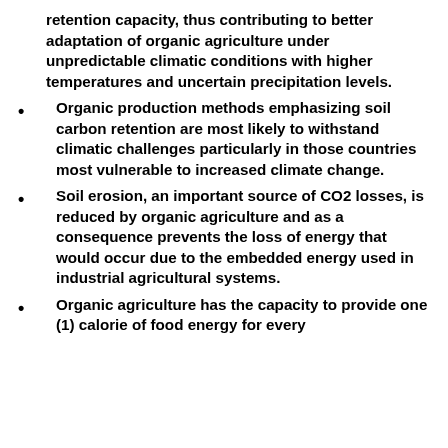retention capacity, thus contributing to better adaptation of organic agriculture under unpredictable climatic conditions with higher temperatures and uncertain precipitation levels.
Organic production methods emphasizing soil carbon retention are most likely to withstand climatic challenges particularly in those countries most vulnerable to increased climate change.
Soil erosion, an important source of CO2 losses, is reduced by organic agriculture and as a consequence prevents the loss of energy that would occur due to the embedded energy used in industrial agricultural systems.
Organic agriculture has the capacity to provide one (1) calorie of food energy for every